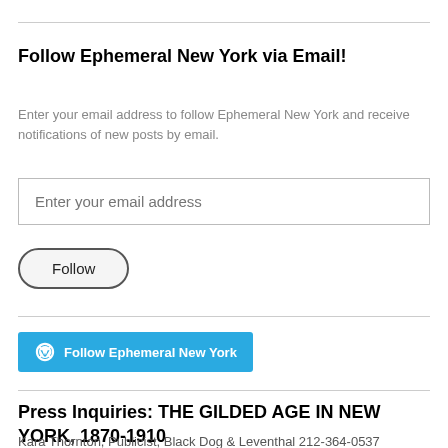Follow Ephemeral New York via Email!
Enter your email address to follow Ephemeral New York and receive notifications of new posts by email.
Follow
[Figure (other): WordPress Follow Ephemeral New York button]
Press Inquiries: THE GILDED AGE IN NEW YORK, 1870-1910
Kara Thornton, Publicist, Black Dog & Leventhal 212-364-0537